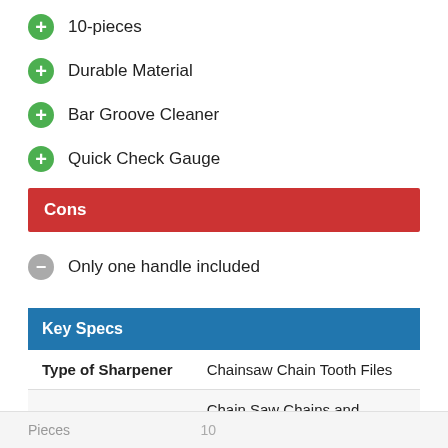10-pieces
Durable Material
Bar Groove Cleaner
Quick Check Gauge
Cons
Only one handle included
| Key Specs |  |
| --- | --- |
| Type of Sharpener | Chainsaw Chain Tooth Files |
| Sharpens | Chain Saw Chains and Blades |
Pieces   10